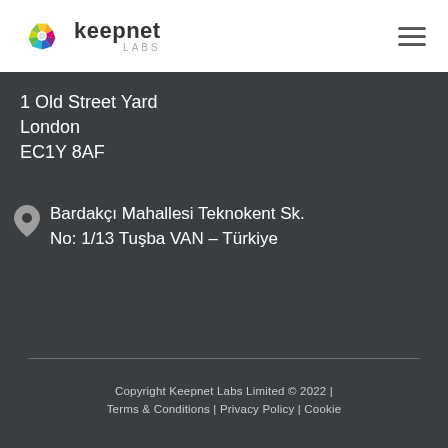[Figure (logo): Keepnet Labs logo with colorful hexagon icon and text 'keepnet LABS']
1 Old Street Yard
London
EC1Y 8AF
Bardakçı Mahallesi Teknokent Sk. No: 1/13 Tuşba VAN – Türkiye
Copyright Keepnet Labs Limited © 2022 | Terms & Conditions | Privacy Policy | Cookie